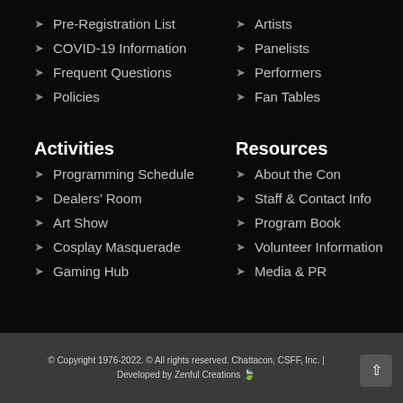Pre-Registration List
COVID-19 Information
Frequent Questions
Policies
Artists
Panelists
Performers
Fan Tables
Activities
Resources
Programming Schedule
Dealers’ Room
Art Show
Cosplay Masquerade
Gaming Hub
About the Con
Staff & Contact Info
Program Book
Volunteer Information
Media & PR
© Copyright 1976-2022. © All rights reserved. Chattacon, CSFF, Inc. | Developed by Zenful Creations 🍃